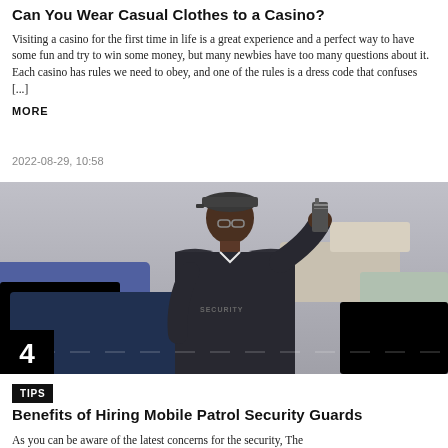Can You Wear Casual Clothes to a Casino?
Visiting a casino for the first time in life is a great experience and a perfect way to have some fun and try to win some money, but many newbies have too many questions about it. Each casino has rules we need to obey, and one of the rules is a dress code that confuses [...]
MORE
2022-08-29, 10:58
[Figure (photo): A security guard wearing a black jacket with 'SECURITY' text, talking on a walkie-talkie radio, standing in a parking area with cars in the background. A black box in the bottom-left corner shows the number 4.]
TIPS
Benefits of Hiring Mobile Patrol Security Guards
As you can be aware of the latest concerns for the security, The